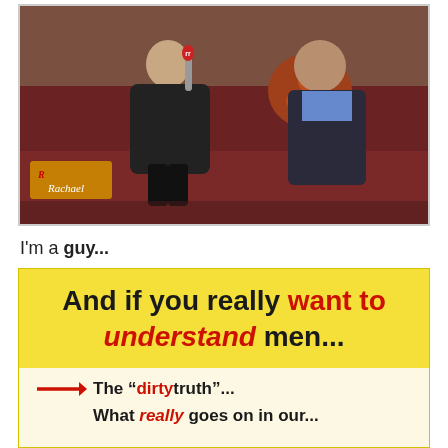[Figure (photo): Two people sitting on a dark red couch on what appears to be the Rachael Ray show set. A woman in black clothing with boots holds a microphone, and a man in a dark suit sits beside her. Colorful floral pillows are visible in the background. The Rachael Ray show logo is visible in the lower left.]
I'm a guy...
And if you really want to understand men...
The "dirty" truth...
What really goes on in our...